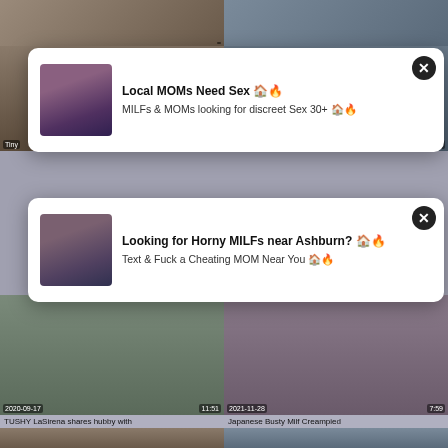[Figure (screenshot): Video thumbnail grid with adult content ads overlay. Top row shows two video thumbnails. Two ad popups visible. Bottom rows show video thumbnails with timestamps and titles: TUSHY LaSirena shares hubby with (2020-09-17, 11:51), Japanese Busty Milf Creampied (2021-11-28, 7:59). Bottom two thumbnails partially visible.]
Local MOMs Need Sex 🏠🔥
MILFs & MOMs looking for discreet Sex 30+ 🏠🔥
Looking for Horny MILFs near Ashburn? 🏠🔥
Text & Fuck a Cheating MOM Near You 🏠🔥
TUSHY LaSirena shares hubby with
Japanese Busty Milf Creampied